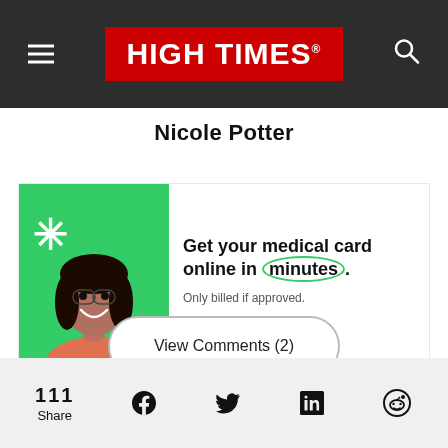HIGH TIMES
Nicole Potter
[Figure (infographic): Leafwell advertisement: woman smiling on green background with cannabis leaf asterisk icon. Text: Get your medical card online in minutes. Only billed if approved. leafwell.co]
View Comments (2)
111 Share | Facebook | Twitter | LinkedIn | Reddit